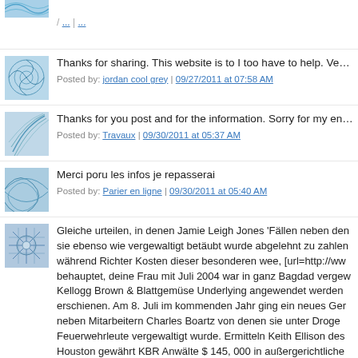[Figure (illustration): Blue abstract avatar icon]
Thanks for sharing. This website is to I too have to help. Very g...
Posted by: jordan cool grey | 09/27/2011 at 07:58 AM
[Figure (illustration): Blue abstract swirl avatar icon]
Thanks for you post and for the information. Sorry for my englis...
Posted by: Travaux | 09/30/2011 at 05:37 AM
[Figure (illustration): Blue abstract wave avatar icon]
Merci poru les infos je repasserai
Posted by: Parier en ligne | 09/30/2011 at 05:40 AM
[Figure (illustration): Blue abstract starburst avatar icon]
Gleiche urteilen, in denen Jamie Leigh Jones 'Fällen neben den... sie ebenso wie vergewaltigt betäubt wurde abgelehnt zu zahlen... während Richter Kosten dieser besonderen wee, [url=http://www... behauptet, deine Frau mit Juli 2004 war in ganz Bagdad vergew... Kellogg Brown & Blattgemüse Underlying angewendet werden... erschienen. Am 8. Juli im kommenden Jahr ging ein neues Ger... neben Mitarbeitern Charles Boartz von denen sie unter Droge... Feuerwehrleute vergewaltigt wurde. Ermitteln Keith Ellison des... Houston gewährt KBR Anwälte $ 145, 000 in außergerichtliche... Menge an im Vergleich zu $ 2.000.000 KBR Anwälte im Service...